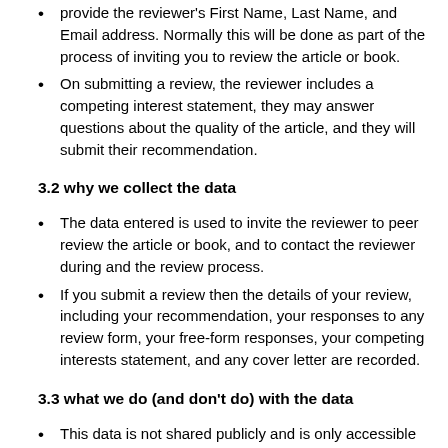provide the reviewer's First Name, Last Name, and Email address. Normally this will be done as part of the process of inviting you to review the article or book.
On submitting a review, the reviewer includes a competing interest statement, they may answer questions about the quality of the article, and they will submit their recommendation.
3.2 why we collect the data
The data entered is used to invite the reviewer to peer review the article or book, and to contact the reviewer during and the review process.
If you submit a review then the details of your review, including your recommendation, your responses to any review form, your free-form responses, your competing interests statement, and any cover letter are recorded.
3.3 what we do (and don't do) with the data
This data is not shared publicly and is only accessible by the Editor and system administrators of that journal or press.